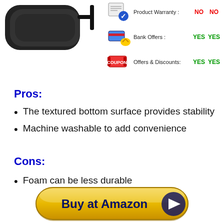[Figure (photo): Black yoga mat rolled up with strap, top-left of page]
Product Warranty: NO   NO
Bank Offers: YES   YES
Offers & Discounts: YES   YES
Pros:
The textured bottom surface provides stability
Machine washable to add convenience
Cons:
Foam can be less durable
[Figure (illustration): Buy at Amazon button with yellow gradient and play icon]